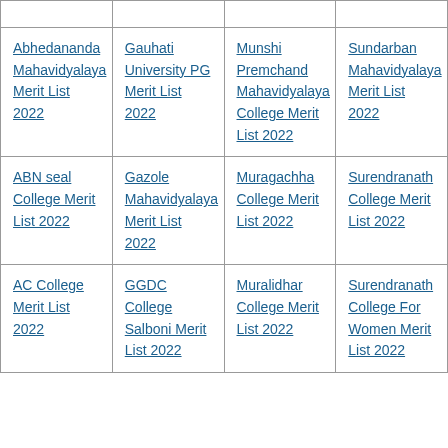|  |  |  |  |
| Abhedananda Mahavidyalaya Merit List 2022 | Gauhati University PG Merit List 2022 | Munshi Premchand Mahavidyalaya College Merit List 2022 | Sundarban Mahavidyalaya Merit List 2022 |
| ABN seal College Merit List 2022 | Gazole Mahavidyalaya Merit List 2022 | Muragachha College Merit List 2022 | Surendranath College Merit List 2022 |
| AC College Merit List 2022 | GGDC College Salboni Merit List 2022 | Muralidhar College Merit List 2022 | Surendranath College For Women Merit List 2022 |